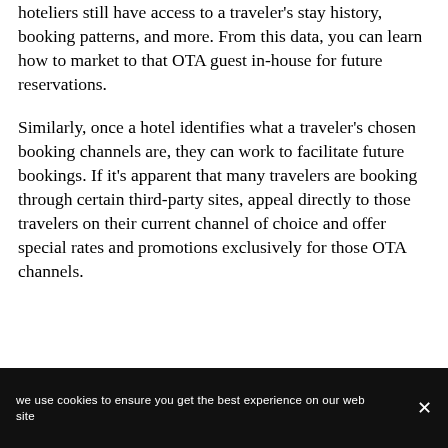hoteliers still have access to a traveler's stay history, booking patterns, and more. From this data, you can learn how to market to that OTA guest in-house for future reservations.
Similarly, once a hotel identifies what a traveler's chosen booking channels are, they can work to facilitate future bookings. If it's apparent that many travelers are booking through certain third-party sites, appeal directly to those travelers on their current channel of choice and offer special rates and promotions exclusively for those OTA channels.
we use cookies to ensure you get the best experience on our website ×